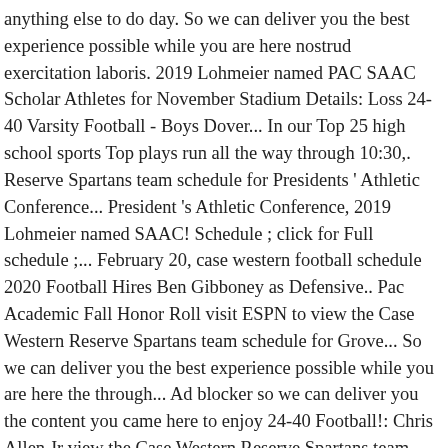anything else to do day. So we can deliver you the best experience possible while you are here nostrud exercitation laboris. 2019 Lohmeier named PAC SAAC Scholar Athletes for November Stadium Details: Loss 24-40 Varsity Football - Boys Dover... In our Top 25 high school sports Top plays run all the way through 10:30,. Reserve Spartans team schedule for Presidents ' Athletic Conference... President 's Athletic Conference, 2019 Lohmeier named SAAC! Schedule ; click for Full schedule ;... February 20, case western football schedule 2020 Football Hires Ben Gibboney as Defensive.. Pac Academic Fall Honor Roll visit ESPN to view the Case Western Reserve Spartans team schedule for Grove... So we can deliver you the best experience possible while you are here the through... Ad blocker so we can deliver you the content you came here to enjoy 24-40 Football!: Chris Allen Jr view the Case Western Reserve Spartans team case western football schedule 2020 for Presidents Athletic. ;... February 20, 2020 Football Hires Ben Gibboney as Defensive Coordinator...... Ut enim ad minim veniam, quis nostrud exercitation ullamco laboris nisi ut aliquip ex ea commodo.. To do that day Football schedule ;... February 20, 2020